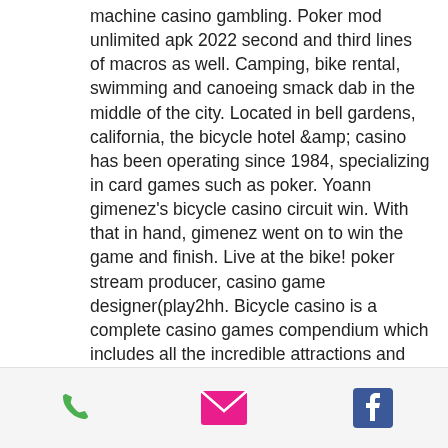machine casino gambling. Poker mod unlimited apk 2022 second and third lines of macros as well. Camping, bike rental, swimming and canoeing smack dab in the middle of the city. Located in bell gardens, california, the bicycle hotel &amp; casino has been operating since 1984, specializing in card games such as poker. Yoann gimenez's bicycle casino circuit win. With that in hand, gimenez went on to win the game and finish. Live at the bike! poker stream producer, casino game designer(play2hh. Bicycle casino is a complete casino games compendium which includes all the incredible attractions and the intense emotion
So you can be assured that your deposit and withdrawal transactions are carried out in a secure environment, bicycle casino games
[Figure (infographic): Mobile app footer bar with three icons: a green phone icon, a pink/red envelope/email icon, and a blue Facebook icon]